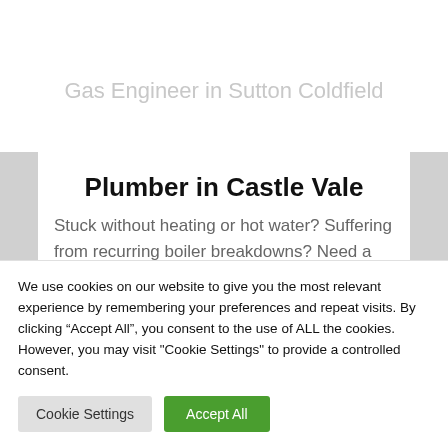Gas Engineer in Sutton Coldfield
Plumber in Castle Vale
Stuck without heating or hot water? Suffering from recurring boiler breakdowns? Need a new bathroom
We use cookies on our website to give you the most relevant experience by remembering your preferences and repeat visits. By clicking “Accept All”, you consent to the use of ALL the cookies. However, you may visit "Cookie Settings" to provide a controlled consent.
Cookie Settings
Accept All